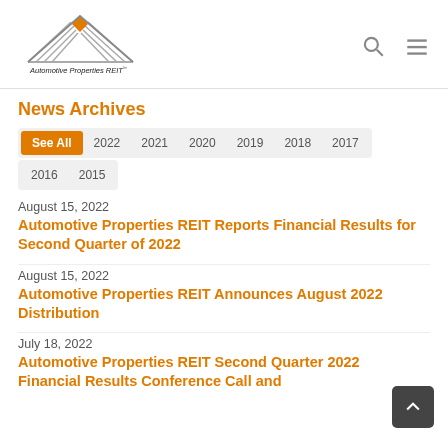[Figure (logo): Automotive Properties REIT logo — triangle/pyramid shape with orange diamond at top, grey lines below, text 'Automotive Properties REIT' underneath]
News Archives
See All
2022
2021
2020
2019
2018
2017
2016
2015
August 15, 2022
Automotive Properties REIT Reports Financial Results for Second Quarter of 2022
August 15, 2022
Automotive Properties REIT Announces August 2022 Distribution
July 18, 2022
Automotive Properties REIT Second Quarter 2022 Financial Results Conference Call and...